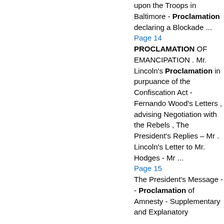upon the Troops in Baltimore - Proclamation declaring a Blockade ...
Page 14
PROCLAMATION OF EMANCIPATION . Mr. Lincoln's Proclamation in purpuance of the Confiscation Act - Fernando Wood's Letters , advising Negotiation with the Rebels , The President's Replies – Mr . Lincoln's Letter to Mr. Hodges - Mr ...
Page 15
The President's Message -- Proclamation of Amnesty - Supplementary and Explanatory